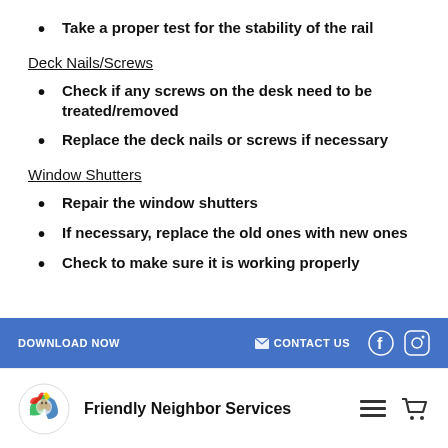Take a proper test for the stability of the rail
Deck Nails/Screws
Check if any screws on the desk need to be treated/removed
Replace the deck nails or screws if necessary
Window Shutters
Repair the window shutters
If necessary, replace the old ones with new ones
Check to make sure it is working properly
DOWNLOAD NOW   CONTACT US   Friendly Neighbor Services